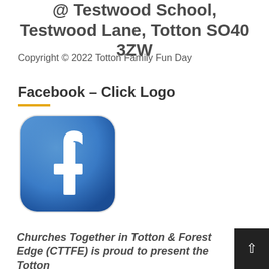@ Testwood School, Testwood Lane, Totton SO40 3ZW
Copyright © 2022 Totton Family Fun Day
Facebook – Click Logo
[Figure (logo): Facebook logo — blue rounded square with white lowercase 'f']
Churches Together in Totton & Forest Edge (CTTFE) is proud to present the Totton